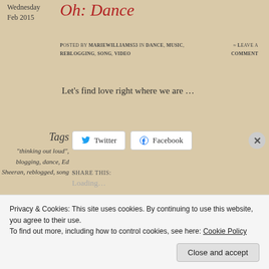Wednesday Feb 2015
Oh: Dance
Posted by mariewilliams53 in dance, music, reblogging, song, video ≈ Leave a comment
Let's find love right where we are …
Tags
"thinking out loud", blogging, dance, Ed Sheeran, reblogged, song
Share this: Twitter Facebook Loading...
Privacy & Cookies: This site uses cookies. By continuing to use this website, you agree to their use.
To find out more, including how to control cookies, see here: Cookie Policy
Close and accept